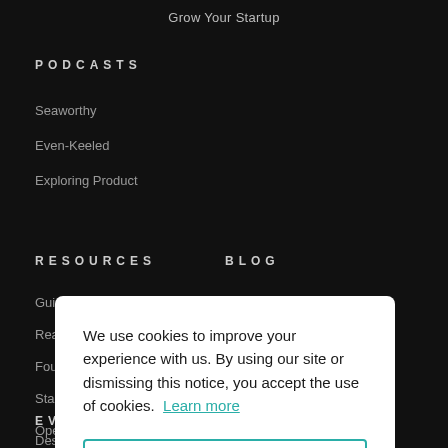Grow Your Startup
PODCASTS
Seaworthy
Even-Keeled
Exploring Product
RESOURCES
BLOG
Gui...
Rea...
Fou...
Sta...
Ope...
We use cookies to improve your experience with us. By using our site or dismissing this notice, you accept the use of cookies. Learn more
Got it!
EVENTS
Design